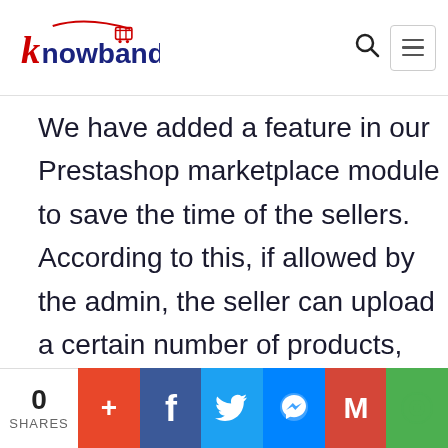[Figure (logo): Knowband logo with red shopping cart icon and dark blue 'knowband' text]
We have added a feature in our Prestashop marketplace module to save the time of the sellers. According to this, if allowed by the admin, the seller can upload a certain number of products, update the shop profile, even before getting the seller account approved.
However, the uploaded products won't
0 SHARES  +  f  Twitter  Messenger  M  Chat